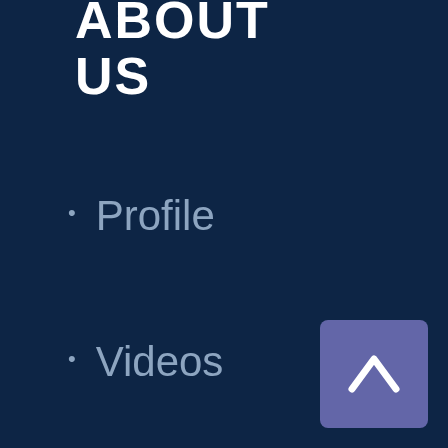ABOUT US
RESEARCH
Profile
Videos
Administration
Contact Us
Research Highlights
Infrastruc...
Scientific Database
[Figure (other): Back to top button - purple square with white chevron/caret pointing upward]